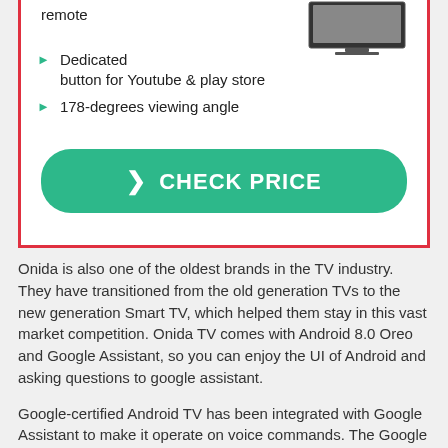remote
Dedicated button for Youtube & play store
178-degrees viewing angle
CHECK PRICE
Onida is also one of the oldest brands in the TV industry. They have transitioned from the old generation TVs to the new generation Smart TV, which helped them stay in this vast market competition. Onida TV comes with Android 8.0 Oreo and Google Assistant, so you can enjoy the UI of Android and asking questions to google assistant.
Google-certified Android TV has been integrated with Google Assistant to make it operate on voice commands. The Google app store gives you access to numerous apps for videos, music, games, news, social networking, etc.